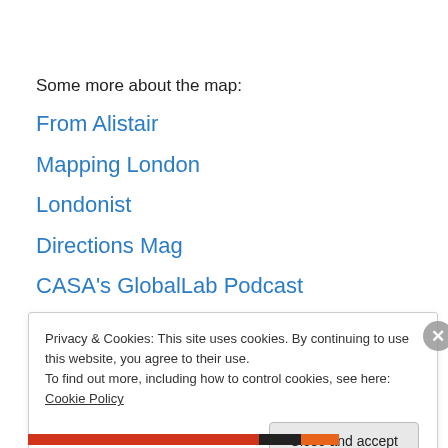Some more about the map:
From Alistair
Mapping London
Londonist
Directions Mag
CASA's GlobalLab Podcast
Sponsored Content
Privacy & Cookies: This site uses cookies. By continuing to use this website, you agree to their use.
To find out more, including how to control cookies, see here: Cookie Policy
Close and accept